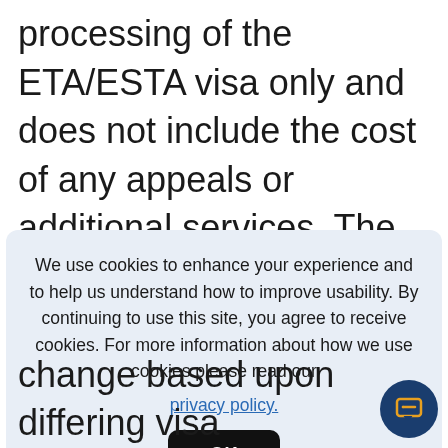processing of the ETA/ESTA visa only and does not include the cost of any appeals or additional services. The cost of an ETA/ESTA application is non-refundable and should your application be refused, or an existing
We use cookies to enhance your experience and to help us understand how to improve usability. By continuing to use this site, you agree to receive cookies. For more information about how we use cookies please read our privacy policy.
change based upon differing visa